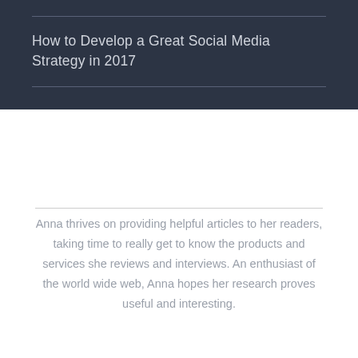How to Develop a Great Social Media Strategy in 2017
Anna thrives on providing helpful articles to her readers, taking time to really get to know the products and services she reviews and interviews. An enthusiast of the world wide web, Anna hopes her research proves useful and interesting.